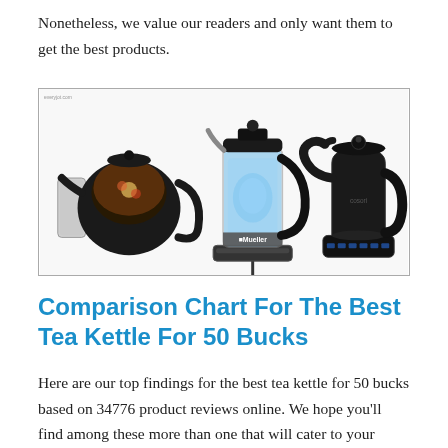Nonetheless, we value our readers and only want them to get the best products.
[Figure (photo): Three tea kettles side by side: a glass teapot with infuser on the left, a Mueller electric glass kettle with blue LED light in the center, and a dark matte electric pour-over kettle with digital controls on the right.]
Comparison Chart For The Best Tea Kettle For 50 Bucks
Here are our top findings for the best tea kettle for 50 bucks based on 34776 product reviews online. We hope you'll find among these more than one that will cater to your specific needs.